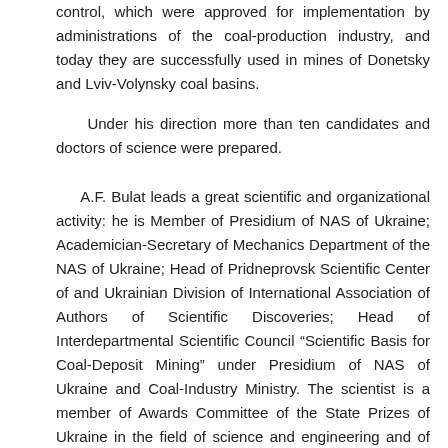control, which were approved for implementation by administrations of the coal-production industry, and today they are successfully used in mines of Donetsky and Lviv-Volynsky coal basins.
Under his direction more than ten candidates and doctors of science were prepared.
A.F. Bulat leads a great scientific and organizational activity: he is Member of Presidium of NAS of Ukraine; Academician-Secretary of Mechanics Department of the NAS of Ukraine; Head of Pridneprovsk Scientific Center of and Ukrainian Division of International Association of Authors of Scientific Discoveries; Head of Interdepartmental Scientific Council “Scientific Basis for Coal-Deposit Mining” under Presidium of NAS of Ukraine and Coal-Industry Ministry. The scientist is a member of Awards Committee of the State Prizes of Ukraine in the field of science and engineering and of several international scientific associations and committees. Besides, he directs